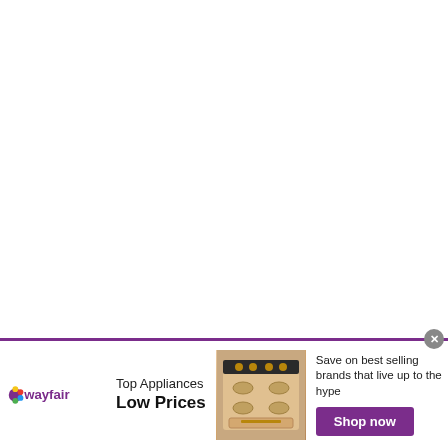[Figure (advertisement): Wayfair advertisement banner. Logo on left with colorful star icon and 'wayfair' in purple text. Center text: 'Top Appliances' and 'Low Prices' in bold. Image of a range/stove appliance. Right side text: 'Save on best selling brands that live up to the hype' with a purple 'Shop now' button. Close button (x) at top right.]